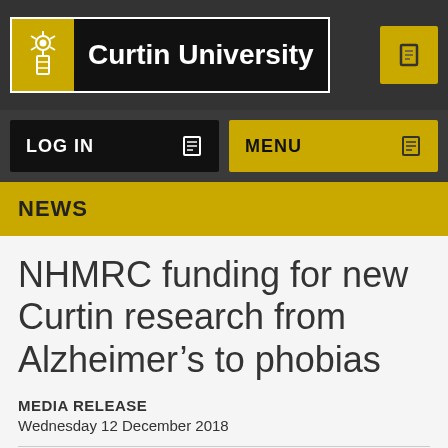Curtin University
NEWS
NHMRC funding for new Curtin research from Alzheimer’s to phobias
MEDIA RELEASE
Wednesday 12 December 2018